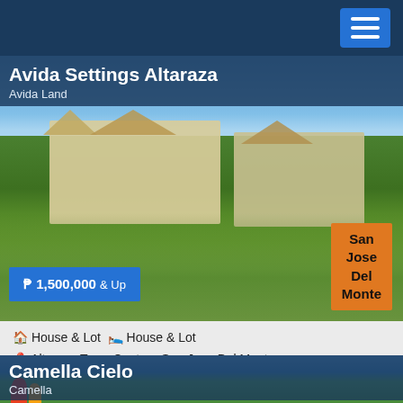Navigation menu button
Avida Settings Altaraza
Avida Land
[Figure (photo): Exterior rendering of Avida Settings Altaraza residential development showing houses with green landscaped grounds and trees]
₱ 1,500,000 & Up
San Jose Del Monte
🏠 House & Lot 🛏 House & Lot
📍 Altaraza Town Center , San Jose Del Monte ,
Camella Cielo
Camella
[Figure (photo): Partial view of Camella Cielo development with trees and colorful figures at entrance]